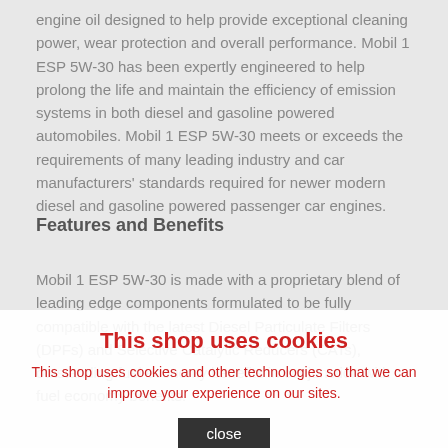engine oil designed to help provide exceptional cleaning power, wear protection and overall performance. Mobil 1 ESP 5W-30 has been expertly engineered to help prolong the life and maintain the efficiency of emission systems in both diesel and gasoline powered automobiles. Mobil 1 ESP 5W-30 meets or exceeds the requirements of many leading industry and car manufacturers' standards required for newer modern diesel and gasoline powered passenger car engines.
Features and Benefits
Mobil 1 ESP 5W-30 is made with a proprietary blend of leading edge components formulated to be fully compatible with the latest Diesel Particulate Filters (DPFs) and Selective Catalytic Reducers (CATs), outstanding fuel economy benefits in conjunction with fuel economy benefits.
This shop uses cookies
This shop uses cookies and other technologies so that we can improve your experience on our sites.